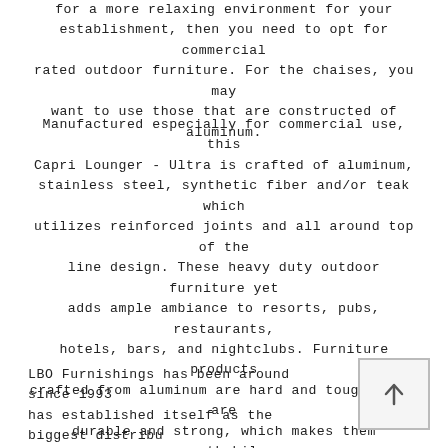for a more relaxing environment for your establishment, then you need to opt for commercial rated outdoor furniture. For the chaises, you may want to use those that are constructed of aluminum.
Manufactured especially for commercial use, this Capri Lounger - Ultra is crafted of aluminum, stainless steel, synthetic fiber and/or teak which utilizes reinforced joints and all around top of the line design. These heavy duty outdoor furniture yet adds ample ambiance to resorts, pubs, restaurants, hotels, bars, and nightclubs. Furniture products crafted from aluminum are hard and tough. They are durable and strong, which makes them worthwhile investments for your establishment. They're also simple to maintain that will endure wear and shocks. That's the reason they are the best utilized in creating heavy-duty exterior furniture, which are ideal for resorts and hotels.
LBO Furnishings has been around since 1993 has established itself as the biggest distribu outdoor furniture in the United States. We also